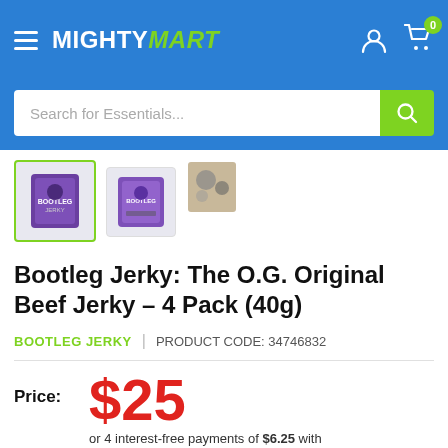MIGHTYMART — navigation header with hamburger menu, logo, user icon, cart icon with badge 0
Search for Essentials...
[Figure (photo): Three product thumbnail images of Bootleg Jerky beef jerky packages; first thumbnail is selected with green border]
Bootleg Jerky: The O.G. Original Beef Jerky - 4 Pack (40g)
BOOTLEG JERKY | PRODUCT CODE: 34746832
Price: $25 or 4 interest-free payments of $6.25 with